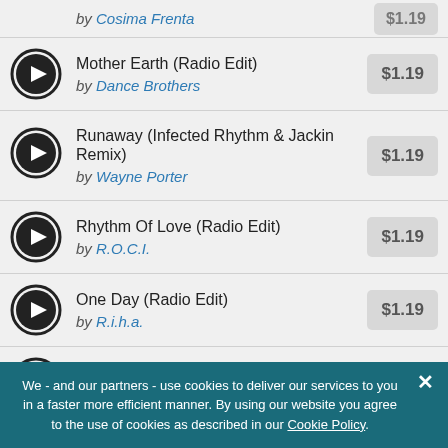by Cosima Frenta — $1.19
Mother Earth (Radio Edit) by Dance Brothers — $1.19
Runaway (Infected Rhythm & Jackin Remix) by Wayne Porter — $1.19
Rhythm Of Love (Radio Edit) by R.O.C.I. — $1.19
One Day (Radio Edit) by R.i.h.a. — $1.19
If You Be Mine (Radio Edit) by R3Wind — $1.19
We - and our partners - use cookies to deliver our services to you in a faster more efficient manner. By using our website you agree to the use of cookies as described in our Cookie Policy.